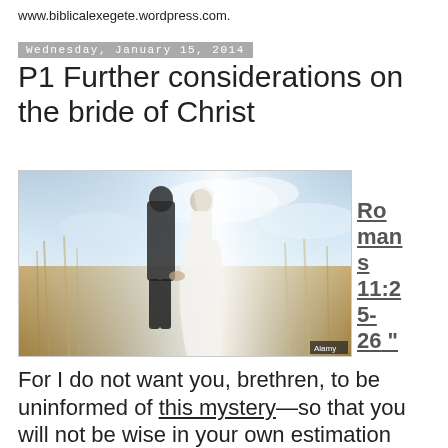www.biblicalexegete.wordpress.com.
Wednesday, January 15, 2014
P1 Further considerations on the bride of Christ
[Figure (photo): Wedding couple walking hand in hand through a field of tall golden grass, bride in white dress with veil, groom in dark suit, backs to camera. Alamy watermark bottom right.]
Romans 11:25-26 "
For I do not want you, brethren, to be uninformed of this mystery—so that you will not be wise in your own estimation